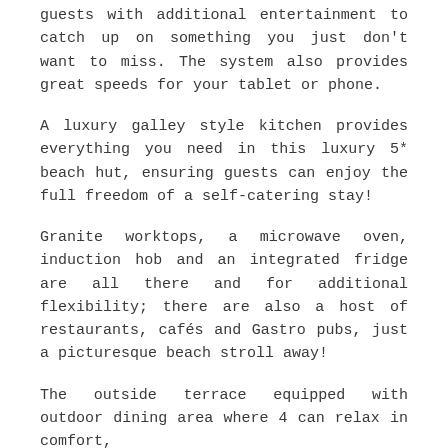guests with additional entertainment to catch up on something you just don't want to miss. The system also provides great speeds for your tablet or phone.
A luxury galley style kitchen provides everything you need in this luxury 5* beach hut, ensuring guests can enjoy the full freedom of a self-catering stay!
Granite worktops, a microwave oven, induction hob and an integrated fridge are all there and for additional flexibility; there are also a host of restaurants, cafés and Gastro pubs, just a picturesque beach stroll away!
The outside terrace equipped with outdoor dining area where 4 can relax in comfort,